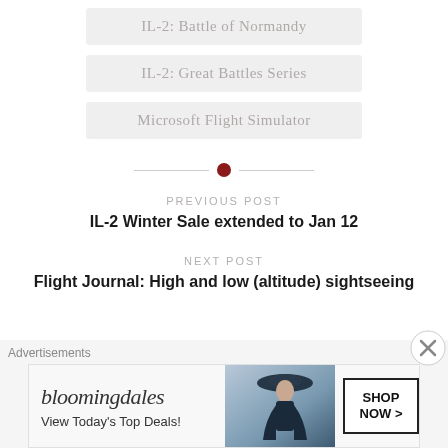IL-2: Battle of Normandy
IL-2: Great Battles Series
Microsoft Flight Simulator
[Figure (other): Decorative horizontal divider with a dark red circle in the center flanked by two short horizontal lines]
PREVIOUS POST
IL-2 Winter Sale extended to Jan 12
NEXT POST
Flight Journal: High and low (altitude) sightseeing
Advertisements
[Figure (illustration): Bloomingdale's advertisement banner showing logo, 'View Today's Top Deals!' text, a woman in a wide-brimmed hat, and a 'SHOP NOW >' button]